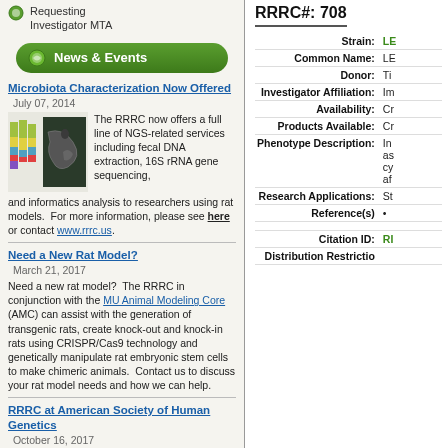Requesting Investigator MTA
News & Events
Microbiota Characterization Now Offered — July 07, 2014 — The RRRC now offers a full line of NGS-related services including fecal DNA extraction, 16S rRNA gene sequencing, and informatics analysis to researchers using rat models. For more information, please see here or contact www.rrrc.us.
Need a New Rat Model? — March 21, 2017 — Need a new rat model? The RRRC in conjunction with the MU Animal Modeling Core (AMC) can assist with the generation of transgenic rats, create knock-out and knock-in rats using CRISPR/Cas9 technology and genetically manipulate rat embryonic stem cells to make chimeric animals. Contact us to discuss your rat model needs and how we can help.
RRRC at American Society of Human Genetics — October 16, 2017 — Stop by Booth 949 (Research Resources in Metagenomics and Animal Models) in the Exhibitor Hall
RRRC#: 708
| Field | Value |
| --- | --- |
| Strain: | LE... |
| Common Name: | LE... |
| Donor: | Ti... |
| Investigator Affiliation: | Im... |
| Availability: | Cr... |
| Products Available: | Cr... |
| Phenotype Description: | In... as... cy... af... |
| Research Applications: | St... |
| Reference(s) | • |
| Citation ID: | RI... |
| Distribution Restrictions |  |